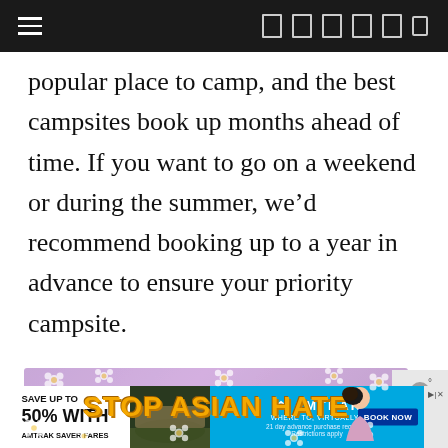[Navigation bar with hamburger menu and icons]
popular place to camp, and the best campsites book up months ahead of time. If you want to go on a weekend or during the summer, we'd recommend booking up to a year in advance to ensure your priority campsite.
[Figure (infographic): Stop Asian Hate advertisement banner with purple background and white daisy flowers, yellow bold text reading STOP ASIAN HATE, and an illustrated person on the right side.]
[Figure (infographic): Amtrak advertisement banner: Save up to 50% with Amtrak Saver Fares. 21 day advance purchase required. Restrictions apply. Book Now button.]